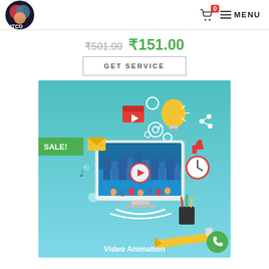Logo | Cart 0 | MENU
₹501.00  ₹151.00
GET SERVICE
[Figure (illustration): Video Animation product image with a computer monitor showing a city animation with a play button, surrounded by floating icons (lightbulb, email, film clapper, at-sign, thumbs up, clock, pencil, music notes). Green SALE! badge on the left. Text at bottom: Video Animation.]